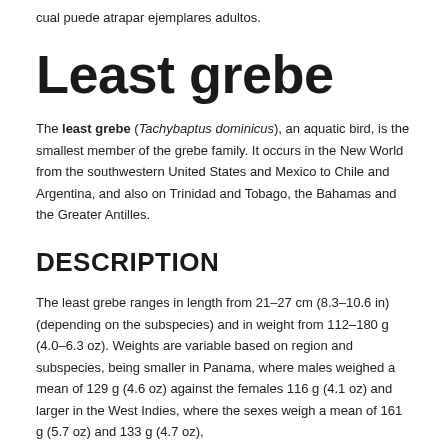cual puede atrapar ejemplares adultos.
Least grebe
The least grebe (Tachybaptus dominicus), an aquatic bird, is the smallest member of the grebe family. It occurs in the New World from the southwestern United States and Mexico to Chile and Argentina, and also on Trinidad and Tobago, the Bahamas and the Greater Antilles.
DESCRIPTION
The least grebe ranges in length from 21–27 cm (8.3–10.6 in) (depending on the subspecies) and in weight from 112–180 g (4.0–6.3 oz). Weights are variable based on region and subspecies, being smaller in Panama, where males weighed a mean of 129 g (4.6 oz) against the females 116 g (4.1 oz) and larger in the West Indies, where the sexes weigh a mean of 161 g (5.7 oz) and 133 g (4.7 oz),